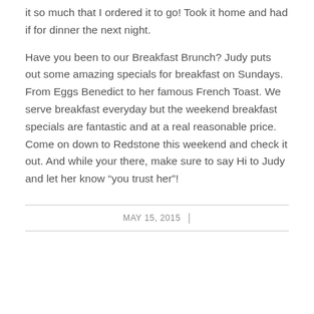it so much that I ordered it to go! Took it home and had if for dinner the next night.
Have you been to our Breakfast Brunch? Judy puts out some amazing specials for breakfast on Sundays. From Eggs Benedict to her famous French Toast. We serve breakfast everyday but the weekend breakfast specials are fantastic and at a real reasonable price. Come on down to Redstone this weekend and check it out. And while your there, make sure to say Hi to Judy and let her know “you trust her”!
MAY 15, 2015